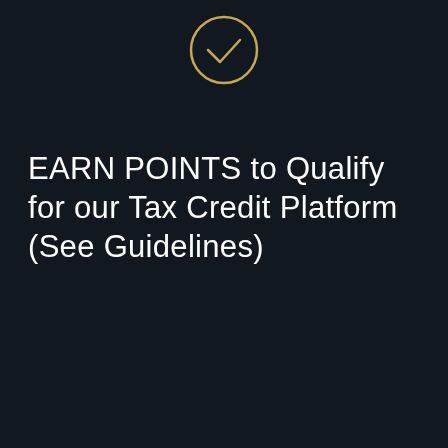[Figure (illustration): Golden circle with a checkmark icon centered near the top of the page]
EARN POINTS to Qualify for our Tax Credit Platform (See Guidelines)